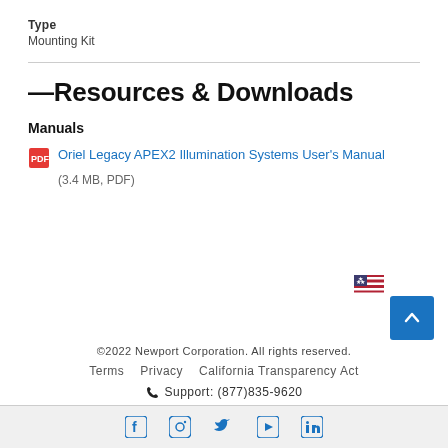Type
Mounting Kit
— Resources & Downloads
Manuals
Oriel Legacy APEX2 Illumination Systems User's Manual (3.4 MB, PDF)
©2022 Newport Corporation. All rights reserved.
Terms  Privacy  California Transparency Act
Support: (877)835-9620